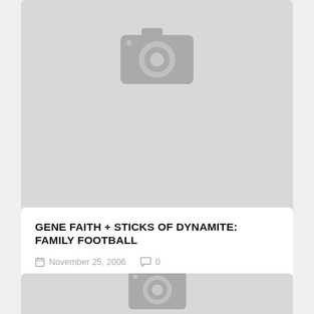[Figure (photo): Gray placeholder image with camera icon]
GENE FAITH + STICKS OF DYNAMITE: FAMILY FOOTBALL
November 25, 2006  0
[Figure (photo): Gray placeholder image with camera icon (partially visible at bottom)]